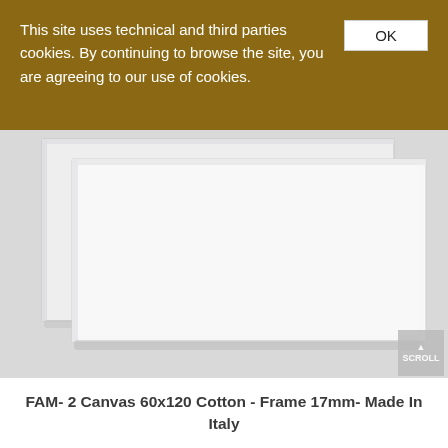This site uses technical and third parties cookies. By continuing to browse the site, you are agreeing to our use of cookies.
[Figure (photo): Two blank white stretched canvases (60x120 cm) with 17mm frame, stacked slightly offset, shown on a light gray background. Product photo for FAM- 2 Canvas 60x120 Cotton - Frame 17mm- Made In Italy.]
FAM- 2 Canvas 60x120 Cotton - Frame 17mm- Made In Italy